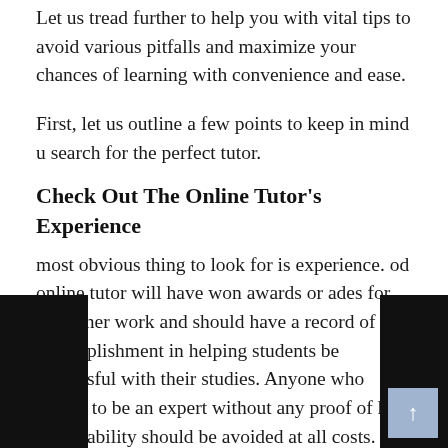Let us tread further to help you with vital tips to avoid various pitfalls and maximize your chances of learning with convenience and ease.
First, let us outline a few points to keep in mind [as yo]u search for the perfect tutor.
Check Out The Online Tutor's Experience
The [m]ost obvious thing to look for is experience. A go[od] online tutor will have won awards or accolade[s] for his or her work and should have a [good ]record of accomplishment in helping students be successful with their studies. Anyone who claims to be an expert without any proof of his or her ability should be avoided at all costs.
Experience is not only important about teaching